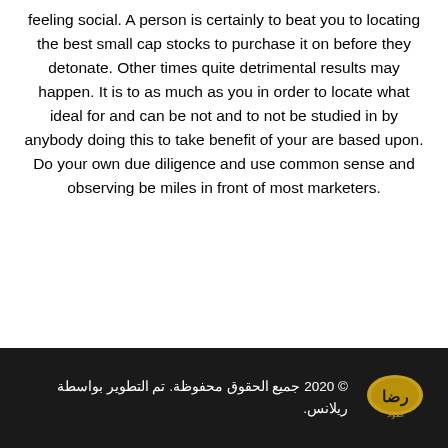feeling social. A person is certainly to beat you to locating the best small cap stocks to purchase it on before they detonate. Other times quite detrimental results may happen. It is to as much as you in order to locate what ideal for and can be not and to not be studied in by anybody doing this to take benefit of your are based upon. Do your own due diligence and use common sense and observing be miles in front of most marketers.
© 2020 جميع الحقوق محفوظة. تم التطوير بواسطة ريلانس.